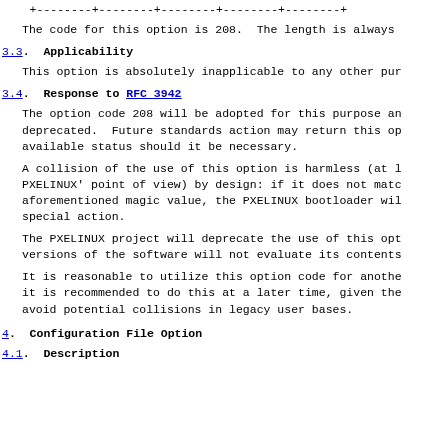+--------+--------+--------+--------+--------+
The code for this option is 208.  The length is always
3.3.  Applicability
This option is absolutely inapplicable to any other pur
3.4.  Response to RFC 3942
The option code 208 will be adopted for this purpose an deprecated.  Future standards action may return this op available status should it be necessary.
A collision of the use of this option is harmless (at l PXELINUX' point of view) by design: if it does not matc aforementioned magic value, the PXELINUX bootloader wil special action.
The PXELINUX project will deprecate the use of this opt versions of the software will not evaluate its contents
It is reasonable to utilize this option code for anothe it is recommended to do this at a later time, given the avoid potential collisions in legacy user bases.
4.  Configuration File Option
4.1.  Description